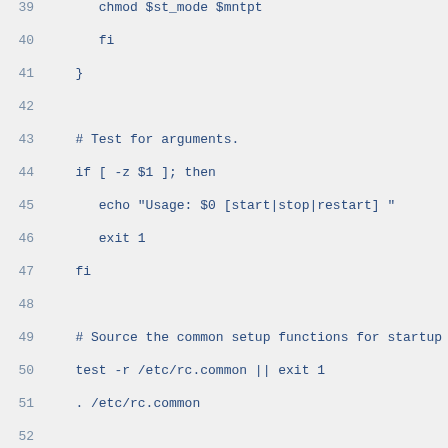[Figure (screenshot): Code listing showing shell script lines 39-59 with line numbers on left in grey and code in blue monospace font on light grey background. Lines include chmod, fi, if block for argument testing, sourcing rc.common, and StartService function with ConsoleMessage, RAMDisk, and mkdir commands.]